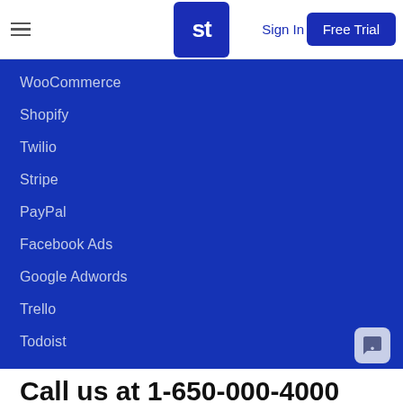Sign In | Free Trial
WooCommerce
Shopify
Twilio
Stripe
PayPal
Facebook Ads
Google Adwords
Trello
Todoist
Call us at 1-650-000-4000